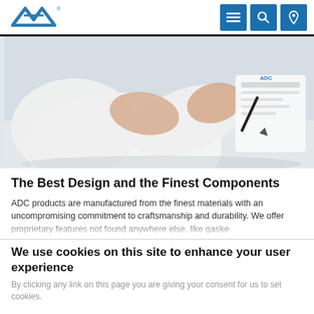American Diagnostic Corporation — ADC logo with navigation icons (menu, search, location)
[Figure (photo): Close-up of a person in a white lab coat writing on a clipboard or form, viewed from slightly above.]
The Best Design and the Finest Components
ADC products are manufactured from the finest materials with an uncompromising commitment to craftsmanship and durability. We offer proprietary features not found anywhere else, like gaske...
We use cookies on this site to enhance your user experience
By clicking any link on this page you are giving your consent for us to set cookies.